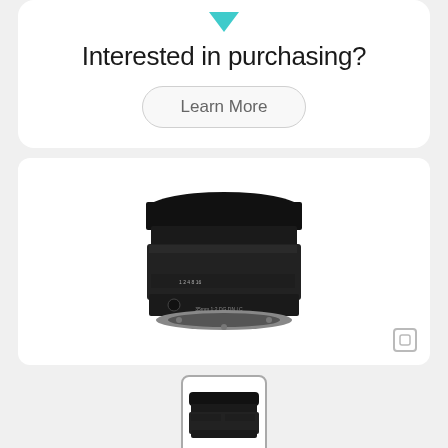Interested in purchasing?
Learn More
[Figure (photo): Black camera lens (Sigma 35mm f/2 DG DN Contemporary) viewed from front-top angle, with lens hood attached, displayed on white background]
[Figure (photo): Thumbnail of the same Sigma camera lens, side profile view, in a bordered thumbnail box]
3 Reviews